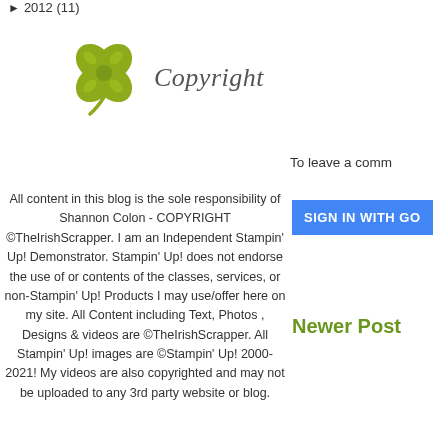► 2012 (11)
[Figure (illustration): Green four-leaf clover illustration next to the word 'Copyright' in italic serif font]
All content in this blog is the sole responsibility of Shannon Colon - COPYRIGHT ©TheIrishScrapper. I am an Independent Stampin' Up! Demonstrator. Stampin' Up! does not endorse the use of or contents of the classes, services, or non-Stampin' Up! Products I may use/offer here on my site. All Content including Text, Photos , Designs & videos are ©TheIrishScrapper. All Stampin' Up! images are ©Stampin' Up! 2000-2021! My videos are also copyrighted and may not be uploaded to any 3rd party website or blog.
To leave a comm
SIGN IN WITH GO
Newer Post